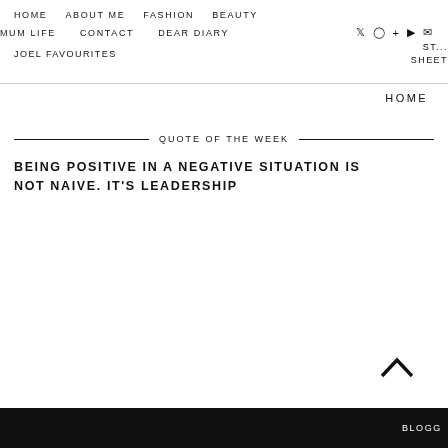HOME   ABOUT ME   FASHION   BEAUTY
MUM LIFE   CONTACT   DEAR DIARY   [social icons]
JOEL FAVOURITES   ST...  SHEET...   HOME
QUOTE OF THE WEEK
BEING POSITIVE IN A NEGATIVE SITUATION IS NOT NAIVE. IT'S LEADERSHIP
BLOGG...